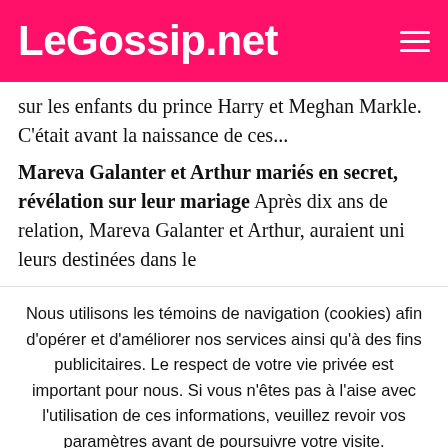LeGossip.net
sur les enfants du prince Harry et Meghan Markle. C'était avant la naissance de ces...
Mareva Galanter et Arthur mariés en secret, révélation sur leur mariage Après dix ans de relation, Mareva Galanter et Arthur, auraient uni leurs destinées dans le
Nous utilisons les témoins de navigation (cookies) afin d'opérer et d'améliorer nos services ainsi qu'à des fins publicitaires. Le respect de votre vie privée est important pour nous. Si vous n'êtes pas à l'aise avec l'utilisation de ces informations, veuillez revoir vos paramètres avant de poursuivre votre visite.
Accepter
Lire plus